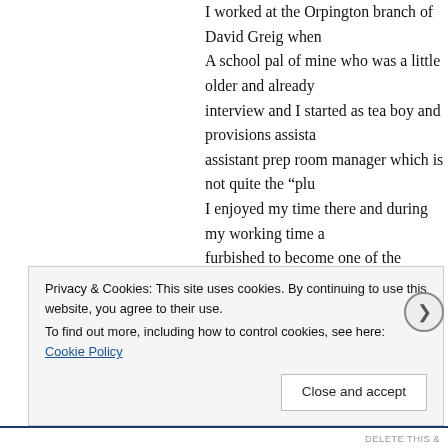I worked at the Orpington branch of David Greig when A school pal of mine who was a little older and already interview and I started as tea boy and provisions assista assistant prep room manager which is not quite the "plu I enjoyed my time there and during my working time a furbished to become one of the earliest supermarkets I example as they possibly had looked at the way things markets and the UK followed, along with messers Sain The re-furb was a totally different setup and we actuall I also did a training course at a small Berkshire town ca course we visited other David Greig shops in, and I thi definitely Reading which at the time Reading was the " a week! The course I was on lasted two weeks but we could go
Privacy & Cookies: This site uses cookies. By continuing to use this website, you agree to their use.
To find out more, including how to control cookies, see here: Cookie Policy